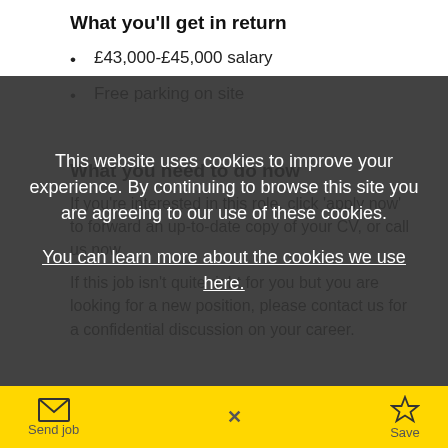What you'll get in return
£43,000-£45,000 salary
Free parking on site
What you need to do now
If you're interested in this role, click 'apply now' to forward an up-to-date copy of your CV, or call us now.
If this job isn't quite right for you but you are looking for a new position, please contact us for a confidential discussion on your career.
This website uses cookies to improve your experience. By continuing to browse this site you are agreeing to our use of these cookies.
You can learn more about the cookies we use here.
Send job   X   Save